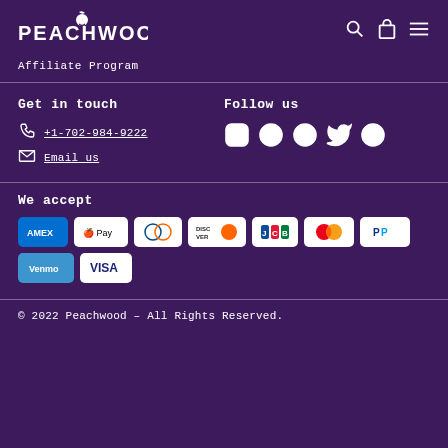[Figure (logo): Peachwood logo with peach icon and stylized text]
Affiliate Program
Get in touch
+1-702-984-9222
Email us
Follow us
[Figure (infographic): Social media icons: Instagram, Facebook, YouTube, Twitter, Pinterest]
We accept
[Figure (infographic): Payment method icons: Amex, Apple Pay, Diners Club, Discover, JCB, Mastercard, PayPal, Venmo, Visa]
© 2022 Peachwood – All Rights Reserved.